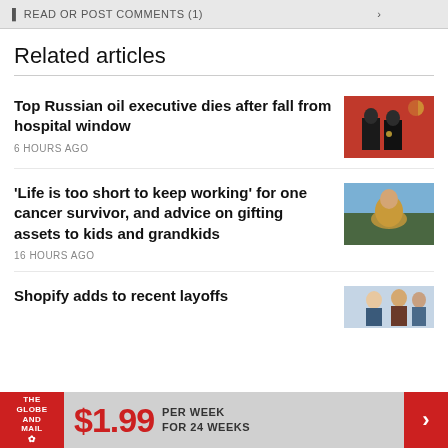READ OR POST COMMENTS (1)
Related articles
Top Russian oil executive dies after fall from hospital window
6 HOURS AGO
[Figure (photo): Two men in formal attire standing in front of red and gold flags]
'Life is too short to keep working' for one cancer survivor, and advice on gifting assets to kids and grandkids
16 HOURS AGO
[Figure (photo): A woman in a yellow garment outdoors]
Shopify adds to recent layoffs
[Figure (photo): People in an office setting]
THE GLOBE AND MAIL $1.99 PER WEEK FOR 24 WEEKS